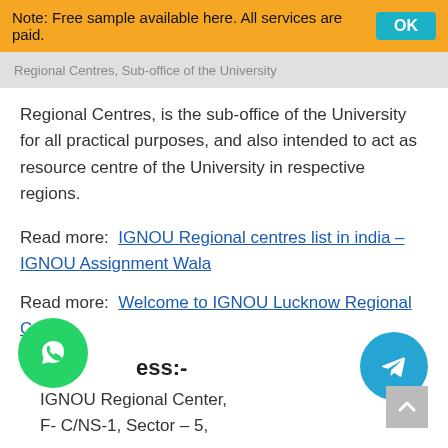Note: Free sample available here. All services are paid.
Regional Centres, is the sub-office of the University for all practical purposes, and also intended to act as resource centre of the University in respective regions.
Read more:  IGNOU Regional centres list in india – IGNOU Assignment Wala
Read more:  Welcome to IGNOU Lucknow Regional Centre
Address:-
IGNOU Regional Center,
F- C/NS-1, Sector – 5,